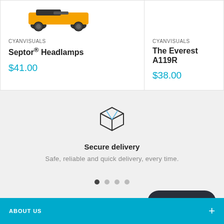CYANVISUALS
Septor® Headlamps
$41.00
CYANVISUALS
The Everest A119R
$38.00
[Figure (illustration): Box/package icon representing secure delivery]
Secure delivery
Safe, reliable and quick delivery, every time.
Chat with us
ABOUT US +